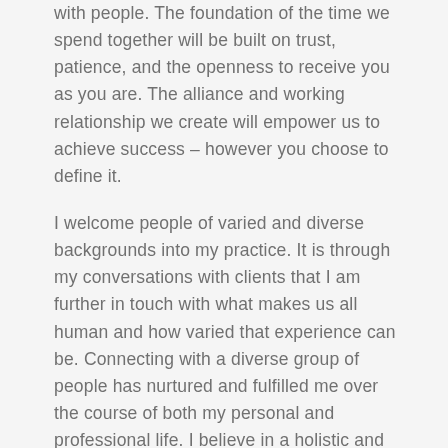with people. The foundation of the time we spend together will be built on trust, patience, and the openness to receive you as you are. The alliance and working relationship we create will empower us to achieve success – however you choose to define it.
I welcome people of varied and diverse backgrounds into my practice. It is through my conversations with clients that I am further in touch with what makes us all human and how varied that experience can be. Connecting with a diverse group of people has nurtured and fulfilled me over the course of both my personal and professional life. I believe in a holistic and collaborative approach in therapy. This allows us to explore all dimensions of wellness and for you to achieve balance. Through advanced training and clinical experiences I have